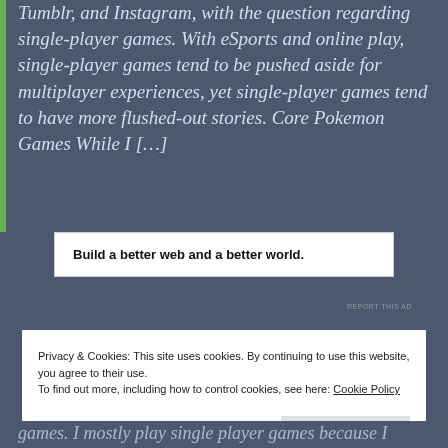Tumblr, and Instagram, with the question regarding single-player games. With eSports and online play, single-player games tend to be pushed aside for multiplayer experiences, yet single-player games tend to have more flushed-out stories. Core Pokemon Games While I […]
Build a better web and a better world.
REPORT THIS AD
Privacy & Cookies: This site uses cookies. By continuing to use this website, you agree to their use.
To find out more, including how to control cookies, see here: Cookie Policy
Close and accept
games. I mostly play single player games because I